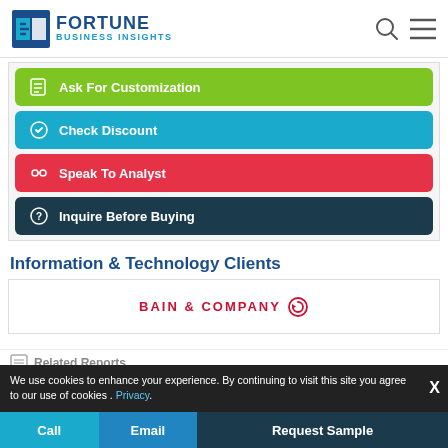Fortune Business Insights
Ask For Customization
Check Discount
Speak To Analyst
Inquire Before Buying
Information & Technology Clients
[Figure (logo): Bain & Company logo in red text with circular arrow icon]
We use cookies to enhance your experience. By continuing to visit this site you agree to our use of cookies . Privacy.
Related Reports
Call  Email  Request Sample